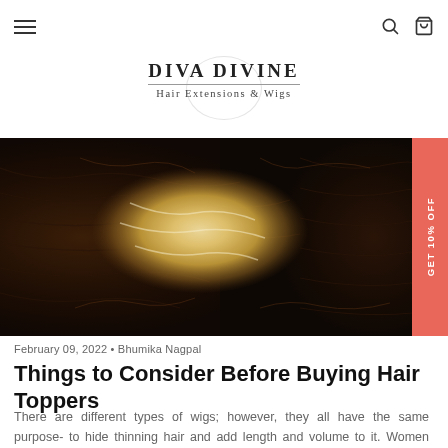Diva Divine Hair Extensions & Wigs - navigation header with hamburger menu, search and cart icons
[Figure (logo): Diva Divine Hair Extensions & Wigs logo with circular watermark, brand name in caps and tagline]
[Figure (photo): Hero image of hair toppers/wigs - dark brown and blonde hair pieces arranged together]
February 09, 2022 • Bhumika Nagpal
Things to Consider Before Buying Hair Toppers
There are different types of wigs; however, they all have the same purpose- to hide thinning hair and add length and volume to it. Women often get frustrated while looking for hair toppers since they come in